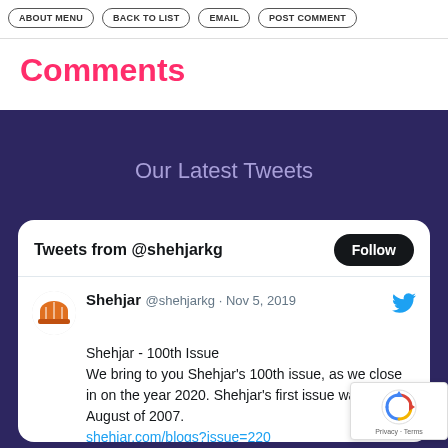ABOUT MENU · BACK TO LIST · EMAIL · POST COMMENT
Comments
Our Latest Tweets
Tweets from @shehjarkg
Shehjar @shehjarkg · Nov 5, 2019
Shehjar - 100th Issue
We bring to you Shehjar's 100th issue, as we close in on the year 2020. Shehjar's first issue was in August of 2007.
shehjar.com/blogs?issue=220